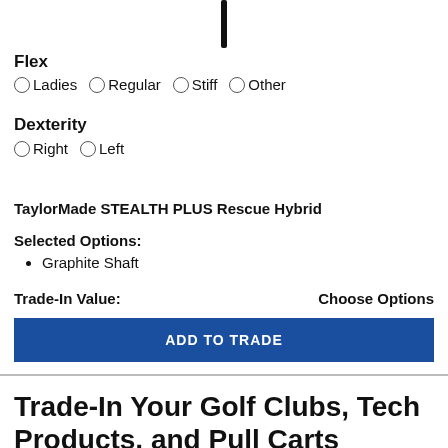[Figure (photo): Partial image of a golf club shaft, black, shown at the top of the page]
Flex
Ladies  Regular  Stiff  Other (radio button options)
Dexterity
Right  Left (radio button options)
TaylorMade STEALTH PLUS Rescue Hybrid
Selected Options:
Graphite Shaft
Trade-In Value:
Choose Options
ADD TO TRADE
Trade-In Your Golf Clubs, Tech Products, and Pull Carts